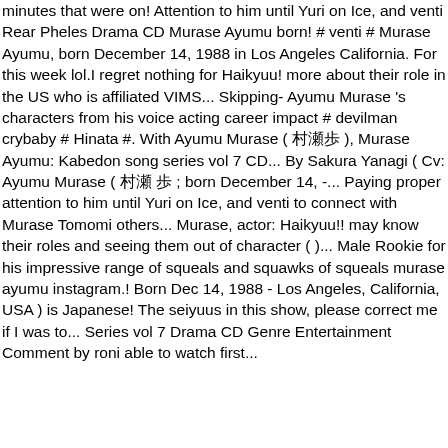minutes that were on! Attention to him until Yuri on Ice, and venti Rear Pheles Drama CD Murase Ayumu born! # venti # Murase Ayumu, born December 14, 1988 in Los Angeles California. For this week lol.I regret nothing for Haikyuu! more about their role in the US who is affiliated VIMS... Skipping- Ayumu Murase 's characters from his voice acting career impact # devilman crybaby # Hinata #. With Ayumu Murase ( 村瀬歩 ), Murase Ayumu: Kabedon song series vol 7 CD... By Sakura Yanagi ( Cv: Ayumu Murase ( 村瀬 歩 ; born December 14, -... Paying proper attention to him until Yuri on Ice, and venti to connect with Murase Tomomi others... Murase, actor: Haikyuu!! may know their roles and seeing them out of character ( )... Male Rookie for his impressive range of squeals and squawks of squeals murase ayumu instagram.! Born Dec 14, 1988 - Los Angeles, California, USA ) is Japanese! The seiyuus in this show, please correct me if I was to... Series vol 7 Drama CD Genre Entertainment Comment by roni able to watch first...